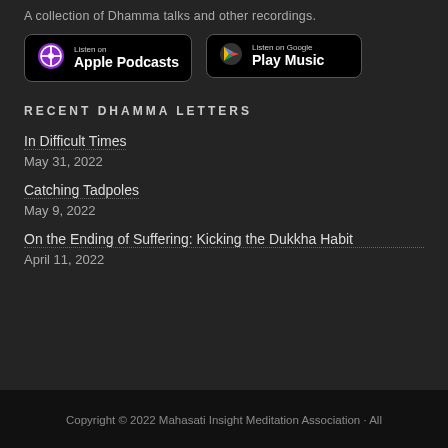A collection of Dhamma talks and other recordings.
[Figure (logo): Listen on Apple Podcasts badge]
[Figure (logo): Listen on Google Play Music badge]
RECENT DHAMMA LETTERS
In Difficult Times
May 31, 2022
Catching Tadpoles
May 9, 2022
On the Ending of Suffering: Kicking the Dukkha Habit
April 11, 2022
Copyright © 2022 Mahasati Insight Meditation Association · All